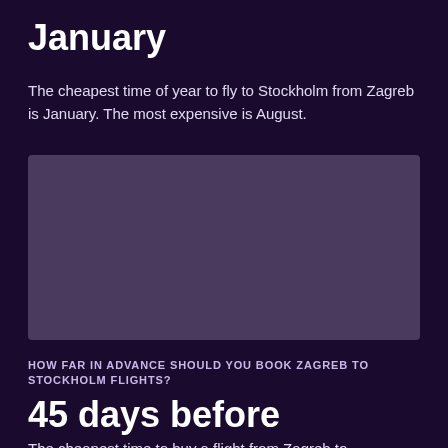January
The cheapest time of year to fly to Stockholm from Zagreb is January. The most expensive is August.
[Figure (other): A bar chart or visualization area showing flight price data by month (rendered as a placeholder rectangle in the original screenshot).]
HOW FAR IN ADVANCE SHOULD YOU BOOK ZAGREB TO STOCKHOLM FLIGHTS?
45 days before
The cheapest time to buy a flight from Zagreb to Stockholm is